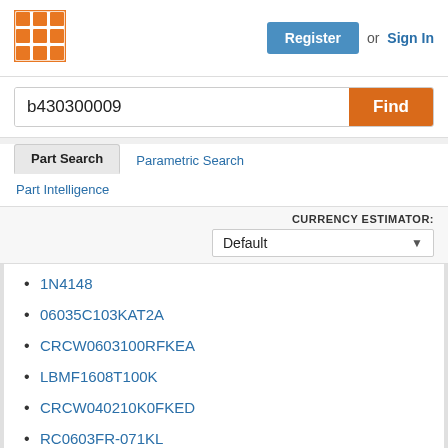[Figure (logo): Orange grid logo icon]
Register or Sign In
b430300009
Find
Part Search
Parametric Search
Part Intelligence
CURRENCY ESTIMATOR: Default
1N4148
06035C103KAT2A
CRCW0603100RFKEA
LBMF1608T100K
CRCW040210K0FKED
RC0603FR-071KL
CGA2B3X7R1H104K050BB